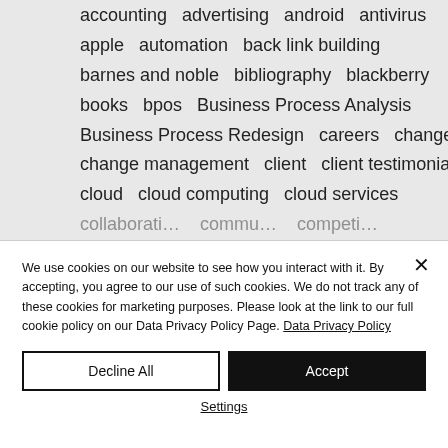[Figure (screenshot): A tag cloud list showing terms: accounting, advertising, android, antivirus, apple, automation, back link building, barnes and noble, bibliography, blackberry, books, bpos, Business Process Analysis, Business Process Redesign, careers, change, change management, client, client testimonials, cloud, cloud computing, cloud services, (partially visible more items)]
We use cookies on our website to see how you interact with it. By accepting, you agree to our use of such cookies. We do not track any of these cookies for marketing purposes. Please look at the link to our full cookie policy on our Data Privacy Policy Page. Data Privacy Policy